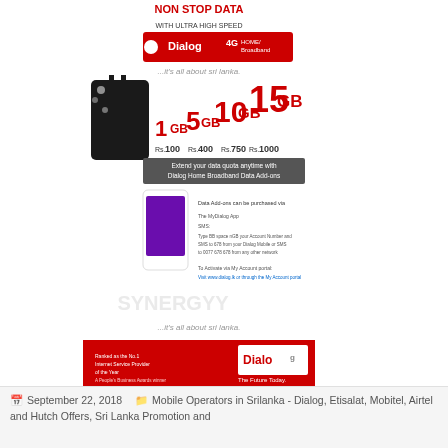[Figure (photo): Dialog 4G Home Broadband advertisement showing NON STOP DATA, with Ultra High Speed, Dialog 4G Home Broadband logo, data packages 1GB Rs.100, 5GB Rs.400, 10GB Rs.750, 15GB Rs.1000, router image, phone screenshots, and Synergyy watermark]
[Figure (infographic): Social sharing icons: RSS (orange), Follow (grey), Facebook (blue), Twitter (light blue)]
Dialog 4G Home Broadband add ons Packages
September 22, 2018   Mobile Operators in Srilanka - Dialog, Etisalat, Mobitel, Airtel and Hutch Offers, Sri Lanka Promotion and